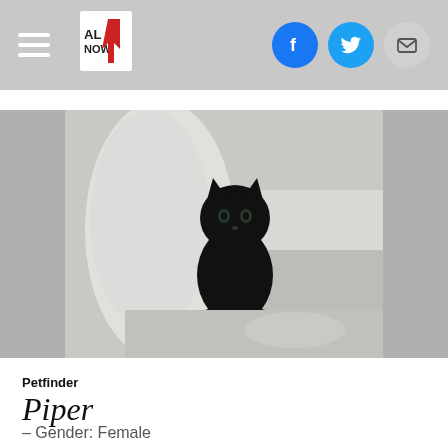AL Now — navigation header with hamburger menu, ALNOW logo, Facebook, Twitter, Email share icons
[Figure (photo): A small black kitten sitting on a fluffy gray/white shag rug, leaning against a light gray cushion or pillow. The kitten faces the camera directly. The photo has gray bars on the left and right sides.]
Petfinder
Piper
– Gender: Female